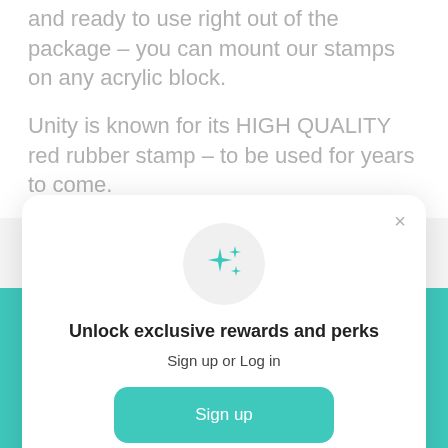All Unity Stamps are pre-cut, mounted on cling foam and ready to use right out of the package – you can mount our stamps on any acrylic block.
Unity is known for its HIGH QUALITY red rubber stamp – to be used for years to come.
[Figure (screenshot): A modal popup dialog with a sparkles icon in a circle, heading 'Unlock exclusive rewards and perks', subtext 'Sign up or Log in', a teal 'Sign up' button, and a 'Already have an account? Sign in' link. A close (×) button is in the top right corner.]
Join Our Email List